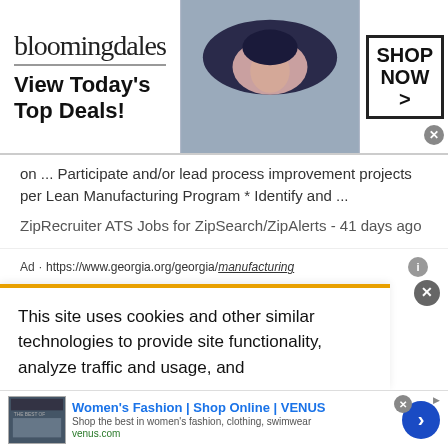[Figure (screenshot): Bloomingdale's advertisement banner: logo on left, model with large hat in center, 'SHOP NOW >' box on right. Tagline: 'View Today's Top Deals!']
on ... Participate and/or lead process improvement projects per Lean Manufacturing Program * Identify and ...
ZipRecruiter ATS Jobs for ZipSearch/ZipAlerts - 41 days ago
Ad · https://www.georgia.org/georgia/manufacturing
Manufacturing Leader - Georgia
This site uses cookies and other similar technologies to provide site functionality, analyze traffic and usage, and
[Figure (screenshot): Bottom advertisement for Women's Fashion | Shop Online | VENUS. Includes thumbnail image, headline, subtext 'Shop the best in women's fashion, clothing, swimwear', venus.com URL, and blue arrow button.]